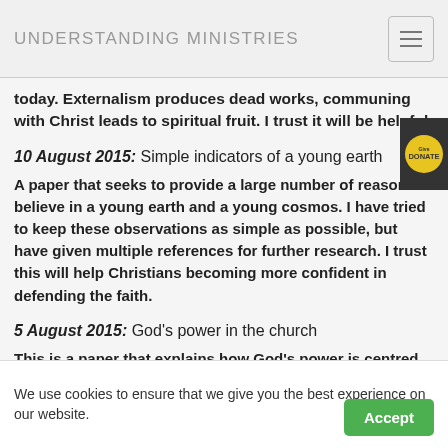UNDERSTANDING MINISTRIES
today. Externalism produces dead works, communing with Christ leads to spiritual fruit. I trust it will be helpful
10 August 2015: Simple indicators of a young earth
A paper that seeks to provide a large number of reasons to believe in a young earth and a young cosmos. I have tried to keep these observations as simple as possible, but have given multiple references for further research. I trust this will help Christians becoming more confident in defending the faith.
5 August 2015: God's power in the church
This is a paper that explains how God's power is centred in the church on earth in these days. It is not a flamboyant expression of power but it is a great power. Christians
We use cookies to ensure that we give you the best experience on our website.